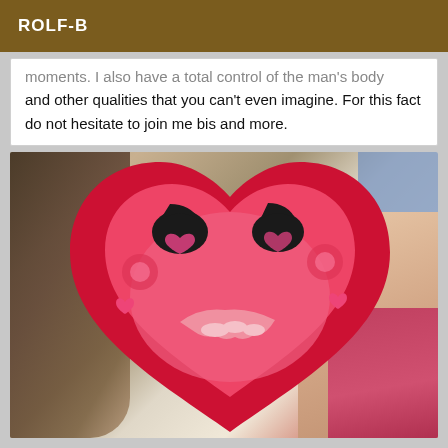ROLF-B
moments. I also have a total control of the man's body and other qualities that you can't even imagine. For this fact do not hesitate to join me bis and more.
[Figure (photo): Photo of a person with their face covered by a large red and pink heart emoji sticker with a cartoon smiley face. Brown hair visible on the left side, skin visible on the right, red/pink clothing at bottom right, blue background in top right corner.]